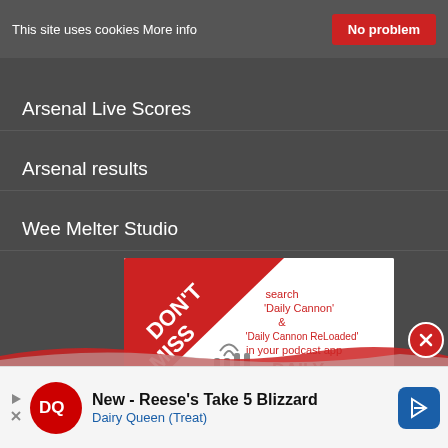This site uses cookies More info
Arsenal Live Scores
Arsenal results
Wee Melter Studio
[Figure (other): Daily Cannon Podcast advertisement banner with DON'T MISS diagonal ribbon and podcast logo]
[Figure (other): Dairy Queen advertisement: New - Reese's Take 5 Blizzard, Dairy Queen (Treat)]